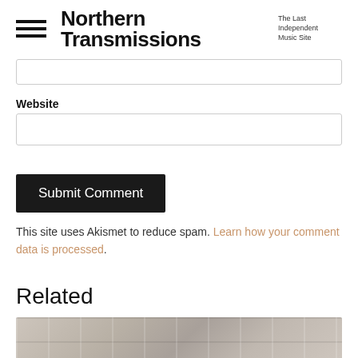Northern Transmissions — The Last Independent Music Site
[Figure (screenshot): Partial input field at top of page (email or name field, cropped)]
Website
[Figure (screenshot): Website input text field, empty]
Submit Comment
This site uses Akismet to reduce spam. Learn how your comment data is processed.
Related
[Figure (photo): Partially visible building facade photo, cropped at bottom of page]